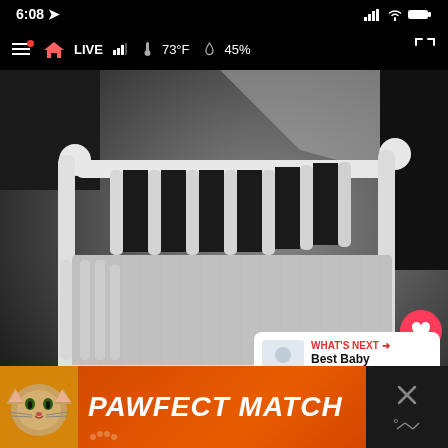[Figure (screenshot): Mobile app screenshot showing a night-vision baby monitor live view of an empty white crib. The phone status bar shows 6:08 with signal/wifi/battery icons. The app overlay shows a hamburger menu, house/LIVE indicator with signal bars, temperature 73°F, and humidity 45%. Right side has heart and share action buttons. A 'What's Next' card shows 'Best Baby Monitor For...' A 'Pawfect Match' advertisement banner is at the bottom.]